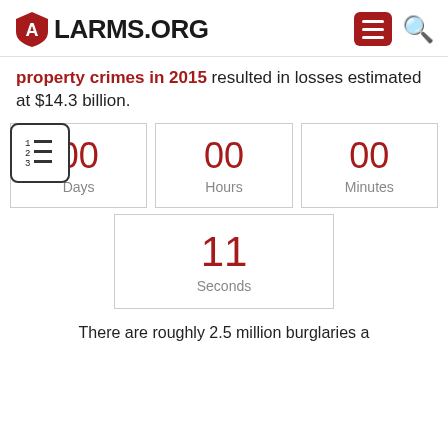ALARMS.ORG
property crimes in 2015 resulted in losses estimated at $14.3 billion.
[Figure (other): Countdown timer widget showing 00 Days, 00 Hours, 00 Minutes, 11 Seconds]
There are roughly 2.5 million burglaries a